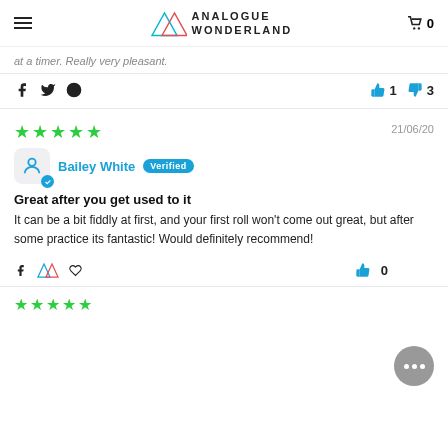Analogue Wonderland — navigation header with logo, hamburger menu, and cart
at a timer. Really very pleasant.
[Figure (infographic): Social share icons (Facebook, Twitter, Pinterest) on the left; thumbs-up (1) and thumbs-down (3) vote buttons on the right]
[Figure (infographic): 5 green stars rating, dated 21/06/20, reviewer Bailey White with Verified badge and avatar]
Great after you get used to it
It can be a bit fiddly at first, and your first roll won't come out great, but after some practice its fantastic! Would definitely recommend!
[Figure (infographic): Social share icons (Facebook, Analogue Wonderland logo, share icon) on the left; thumbs-up and 0 count on the right, with a chat bubble overlay]
[Figure (infographic): Start of next review — partial stars visible at bottom]